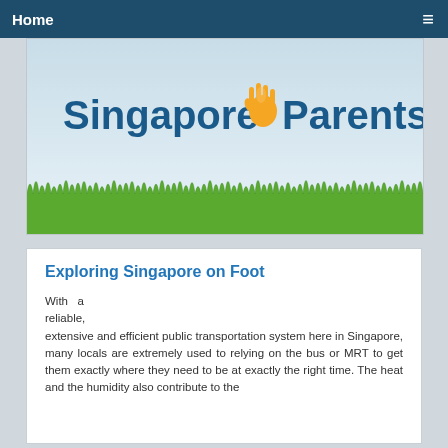Home
[Figure (logo): Singapore Parents website banner logo with hand icon, grass illustration at bottom, light blue gradient background]
Exploring Singapore on Foot
With a reliable, extensive and efficient public transportation system here in Singapore, many locals are extremely used to relying on the bus or MRT to get them exactly where they need to be at exactly the right time. The heat and the humidity also contribute to the reason Singaporeans have not taken to exploring on foot.